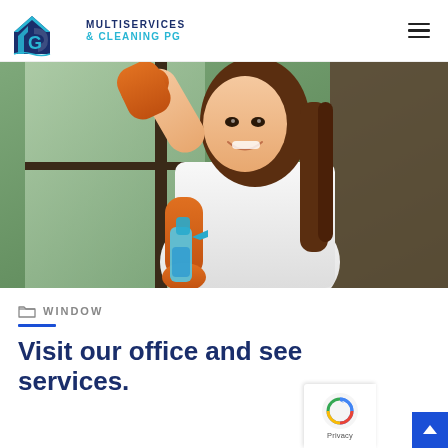[Figure (logo): AG Multiservices & Cleaning PG logo with house/wrench icon in navy blue and light blue]
[Figure (photo): Young smiling woman wearing orange rubber gloves and white shirt cleaning a window with a blue spray bottle]
WINDOW
Visit our office and see services.